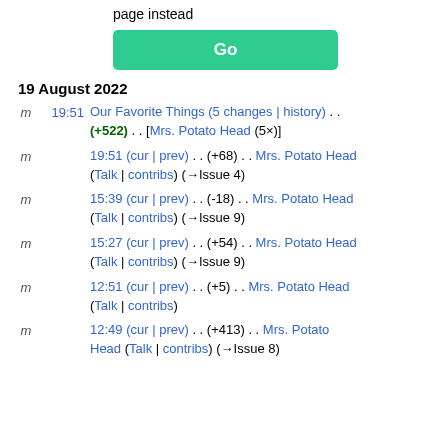page instead
Go
19 August 2022
m 19:51 Our Favorite Things (5 changes | history) . . (+522) . . [Mrs. Potato Head (5×)]
m 19:51 (cur | prev) . . (+68) . . Mrs. Potato Head (Talk | contribs) (→Issue 4)
m 15:39 (cur | prev) . . (-18) . . Mrs. Potato Head (Talk | contribs) (→Issue 9)
m 15:27 (cur | prev) . . (+54) . . Mrs. Potato Head (Talk | contribs) (→Issue 9)
m 12:51 (cur | prev) . . (+5) . . Mrs. Potato Head (Talk | contribs)
m 12:49 (cur | prev) . . (+413) . . Mrs. Potato Head (Talk | contribs) (→Issue 8)